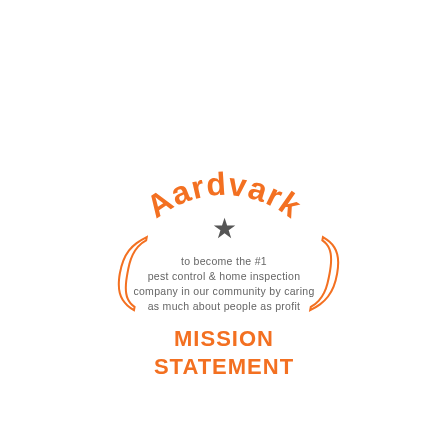[Figure (logo): Aardvark pest control company mission statement logo with arched text 'Aardvark', a star, parenthesis decorations, body text about mission, and bold orange 'MISSION STATEMENT' text.]